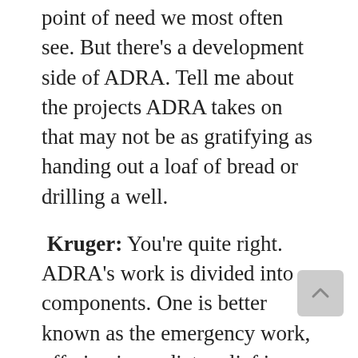point of need we most often see. But there's a development side of ADRA. Tell me about the projects ADRA takes on that may not be as gratifying as handing out a loaf of bread or drilling a well.
Kruger: You're quite right. ADRA's work is divided into components. One is better known as the emergency work, offering immediate relief in whatever circumstance may exist. But the majority of what ADRA does is long-term, sustainable development.
Let me give you an example of that. Some years back, I was in Papua New Guinea